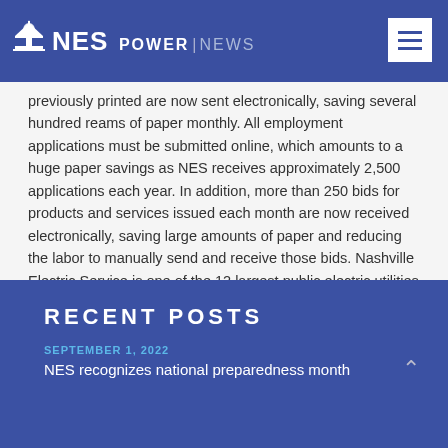NES POWER | NEWS
previously printed are now sent electronically, saving several hundred reams of paper monthly. All employment applications must be submitted online, which amounts to a huge paper savings as NES receives approximately 2,500 applications each year. In addition, more than 250 bids for products and services issued each month are now received electronically, saving large amounts of paper and reducing the labor to manually send and receive those bids. Nashville Electric Service is one of the 12 largest public electric utilities in the nation, distributing energy to more than 360,000 customers in Middle Tennessee. For more information about NES, visit nespower.com.
Categories: Uncategorized
Tags:
RECENT POSTS
SEPTEMBER 1, 2022
NES recognizes national preparedness month